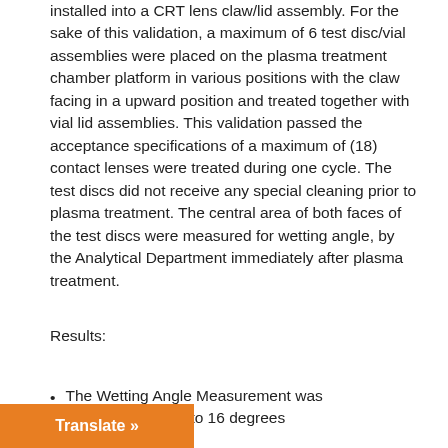installed into a CRT lens claw/lid assembly. For the sake of this validation, a maximum of 6 test disc/vial assemblies were placed on the plasma treatment chamber platform in various positions with the claw facing in a upward position and treated together with vial lid assemblies. This validation passed the acceptance specifications of a maximum of (18) contact lenses were treated during one cycle. The test discs did not receive any special cleaning prior to plasma treatment. The central area of both faces of the test discs were measured for wetting angle, by the Analytical Department immediately after plasma treatment.
Results:
The Wetting Angle Measurement was [measured] in a range of 8 to 16 degrees